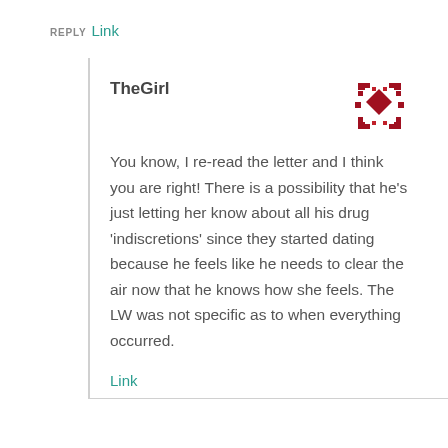REPLY Link
TheGirl
You know, I re-read the letter and I think you are right! There is a possibility that he's just letting her know about all his drug 'indiscretions' since they started dating because he feels like he needs to clear the air now that he knows how she feels. The LW was not specific as to when everything occurred.
Link